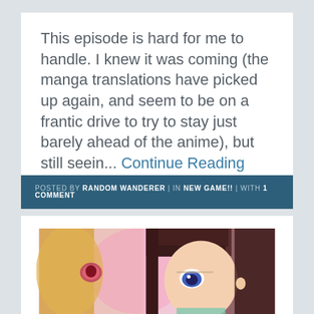This episode is hard for me to handle. I knew it was coming (the manga translations have picked up again, and seem to be on a frantic drive to try to stay just barely ahead of the anime), but still seein... Continue Reading
POSTED BY RANDOM WANDERER | IN NEW GAME!! | WITH 1 COMMENT
[Figure (photo): Close-up anime screenshot of two characters — one with dark red/brown hair and blue eyes looking melancholy, another character partially visible on the left with blonde hair, pink tones in background.]